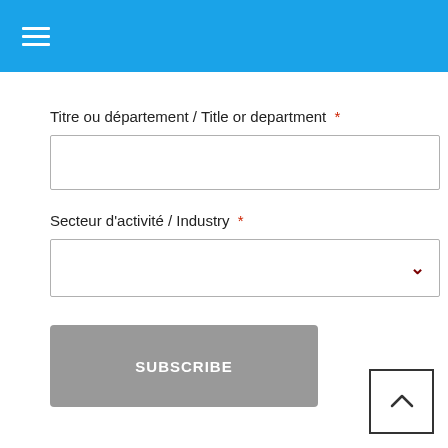[Figure (screenshot): Blue navigation header bar with white hamburger menu icon (three horizontal lines)]
Titre ou département / Title or department *
[Figure (other): Empty text input field]
Secteur d'activité / Industry *
[Figure (other): Dropdown select field with down chevron arrow]
SUBSCRIBE
[Figure (other): Back to top button with upward caret arrow, square bordered]